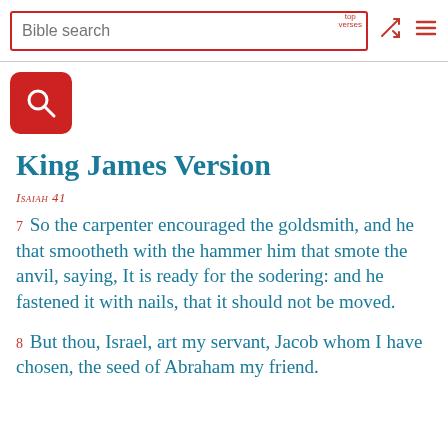Bible search | top verses
King James Version
Isaiah 41
7 So the carpenter encouraged the goldsmith, and he that smootheth with the hammer him that smote the anvil, saying, It is ready for the sodering: and he fastened it with nails, that it should not be moved.
8 But thou, Israel, art my servant, Jacob whom I have chosen, the seed of Abraham my friend.